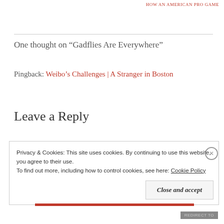HOW AN AMERICAN PRO GAME
One thought on “Gadflies Are Everywhere”
Pingback: Weibo’s Challenges | A Stranger in Boston
Leave a Reply
Privacy & Cookies: This site uses cookies. By continuing to use this website, you agree to their use. To find out more, including how to control cookies, see here: Cookie Policy
Close and accept
REDIRECT TO